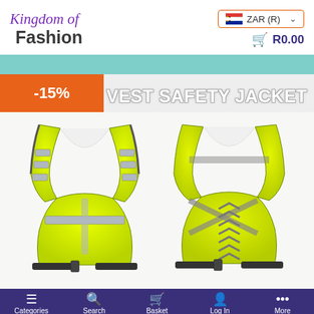[Figure (logo): Kingdom of Fashion brand logo in purple italic/bold font]
ZAR (R)
R0.00
[Figure (photo): Product page showing two views (front and back) of a yellow/lime reflective safety vest jacket with grey reflective strips and black straps. Orange discount badge showing -15% overlaid on top left. Product title 'VEST SAFETY JACKET' displayed prominently.]
Categories | Search | Basket | Log In | More